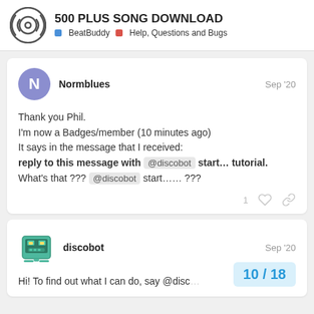500 PLUS SONG DOWNLOAD — BeatBuddy | Help, Questions and Bugs
Normblues — Sep '20
Thank you Phil.
I'm now a Badges/member (10 minutes ago)
It says in the message that I received:
reply to this message with @discobot start... tutorial.
What's that ??? @discobot start...... ???
discobot — Sep '20
Hi! To find out what I can do, say @disc…